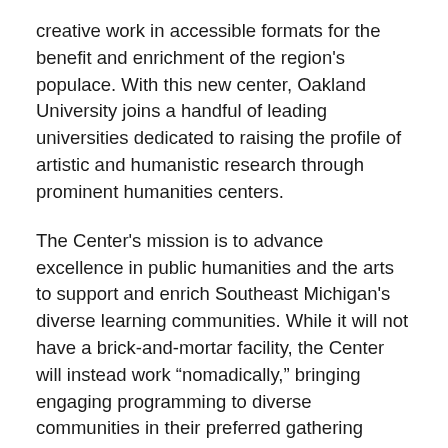creative work in accessible formats for the benefit and enrichment of the region's populace. With this new center, Oakland University joins a handful of leading universities dedicated to raising the profile of artistic and humanistic research through prominent humanities centers.
The Center's mission is to advance excellence in public humanities and the arts to support and enrich Southeast Michigan's diverse learning communities. While it will not have a brick-and-mortar facility, the Center will instead work “nomadically,” bringing engaging programming to diverse communities in their preferred gathering spaces. This model aims to reduce access barriers that might prevent students and the general public from engaging with the arts and humanities.